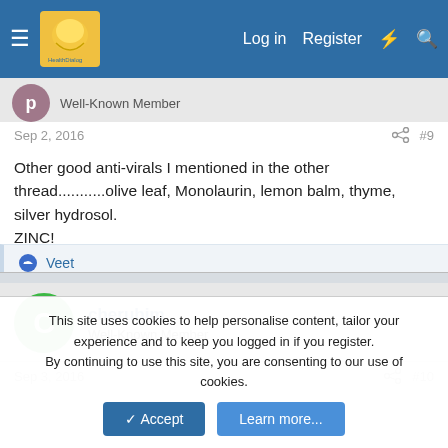Log in  Register  [icons]
Well-Known Member
Sep 2, 2016  #9
Other good anti-virals I mentioned in the other thread...........olive leaf, Monolaurin, lemon balm, thyme, silver hydrosol.
ZINC!
Veet
cherubim
Well-Known Member
Sep 3, 2016  #10
This site uses cookies to help personalise content, tailor your experience and to keep you logged in if you register.
By continuing to use this site, you are consenting to our use of cookies.